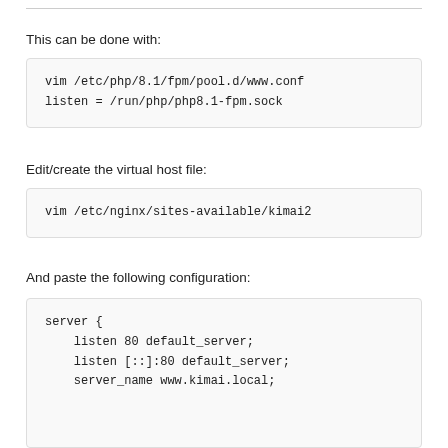This can be done with:
vim /etc/php/8.1/fpm/pool.d/www.conf
listen = /run/php/php8.1-fpm.sock
Edit/create the virtual host file:
vim /etc/nginx/sites-available/kimai2
And paste the following configuration:
server {
    listen 80 default_server;
    listen [::]:80 default_server;
    server_name www.kimai.local;